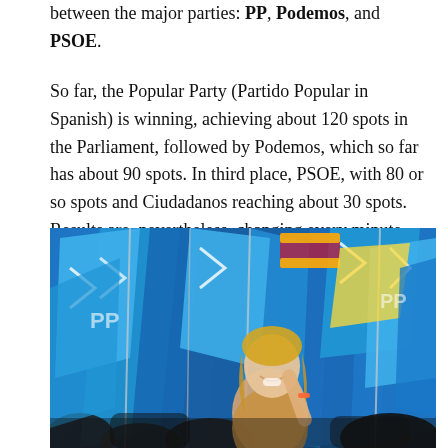between the major parties: PP, Podemos, and PSOE.

So far, the Popular Party (Partido Popular in Spanish) is winning, achieving about 120 spots in the Parliament, followed by Podemos, which so far has about 90 spots. In third place, PSOE, with 80 or so spots and Ciudadanos reaching about 30 spots. Results are, nevertheless, changing every minute.
[Figure (photo): Crowd of people waving blue flags, with a smiling young woman in the center. The blue flags appear to be from the Partido Popular (PP) party rally.]